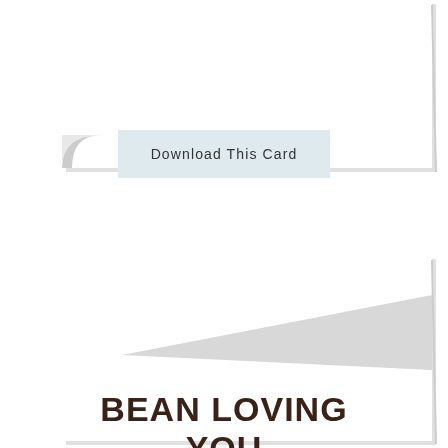[Figure (illustration): A folded card or paper with curled bottom-left corner, shown as a white rectangle with shadow, top portion of page]
Download This Card
[Figure (illustration): A card preview showing a gray triangular shape (decorative element) on white background, folded card appearance]
BEAN LOVING YOU